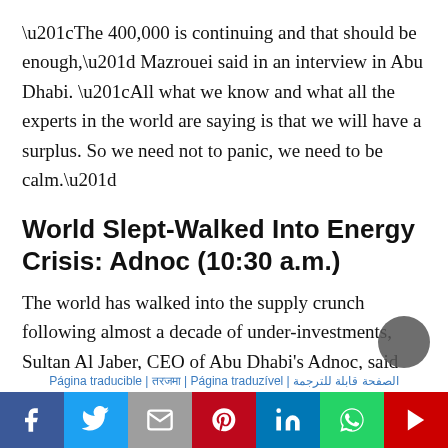“The 400,000 is continuing and that should be enough,” Mazrouei said in an interview in Abu Dhabi. “All what we know and what all the experts in the world are saying is that we will have a surplus. So we need not to panic, we need to be calm.”
World Slept-Walked Into Energy Crisis: Adnoc (10:30 a.m.)
The world has walked into the supply crunch following almost a decade of under-investments, Sultan Al Jaber, CEO of Abu Dhabi’s Adnoc, said
Página traducible | तरजमा | Página traduzível | الصفحة قابلة للترجمة